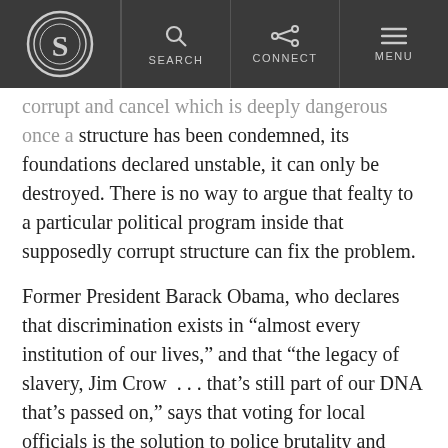Snopes — Navigation header with Search, Connect, Menu
corrupt and cancel which is deeply dangerous once a structure has been condemned, its foundations declared unstable, it can only be destroyed. There is no way to argue that fealty to a particular political program inside that supposedly corrupt structure can fix the problem.
Former President Barack Obama, who declares that discrimination exists in “almost every institution of our lives,” and that “the legacy of slavery, Jim Crow … that’s still part of our DNA that’s passed on,” says that voting for local officials is the solution to police brutality and individual instances of racism.
Somehow, so long as we vote for the same